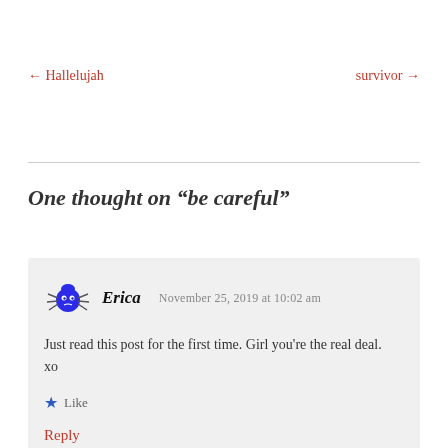← Hallelujah    survivor →
One thought on “be careful”
Just read this post for the first time. Girl you're the real deal.
xo
Like
Reply